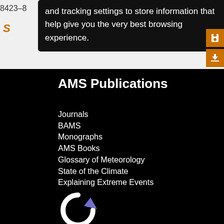8423–8
S
and tracking settings to store information that help give you the very best browsing experience.
AMS Publications
Journals
BAMS
Monographs
AMS Books
Glossary of Meteorology
State of the Climate
Explaining Extreme Events
[Figure (logo): Circular arrow icon in white and blue/purple on black background]